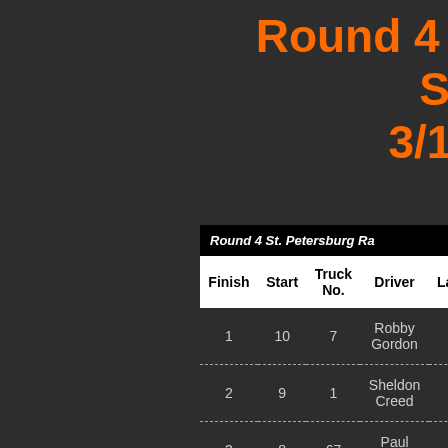Round 4 – St. 3/11
| Finish | Start | Truck No. | Driver | Laps |
| --- | --- | --- | --- | --- |
| 1 | 10 | 7 | Robby Gordon | 9 |
| 2 | 9 | 1 | Sheldon Creed | 9 |
| 3 | 8 | 67 | Paul Morris | 9 |